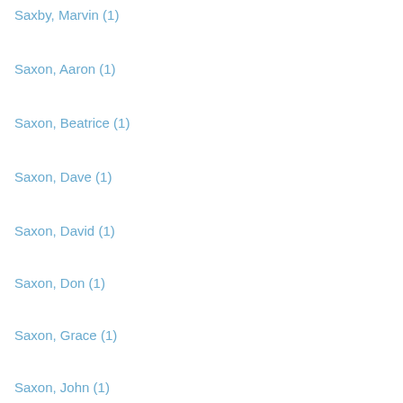Saxby, Marvin (1)
Saxon, Aaron (1)
Saxon, Beatrice (1)
Saxon, Dave (1)
Saxon, David (1)
Saxon, Don (1)
Saxon, Grace (1)
Saxon, John (1)